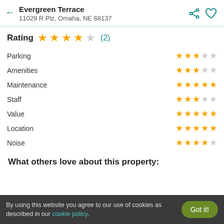Evergreen Terrace
11029 R Plz, Omaha, NE 68137
Rating ★★★★☆ (2)
Parking: 3/5 stars
Amenities: 3/5 stars
Maintenance: 4.5/5 stars
Staff: 3/5 stars
Value: 4.5/5 stars
Location: 4.5/5 stars
Noise: 4/5 stars
What others love about this property:
By using this website you agree to our use of cookies as described in our cookie policy.